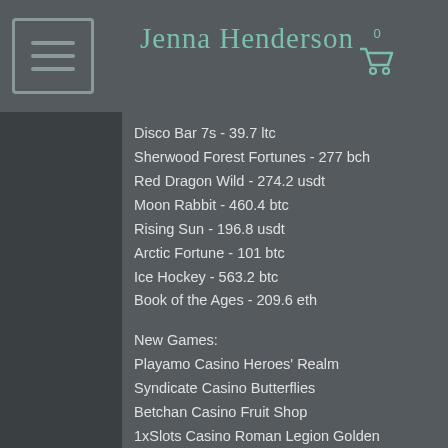Jenna Henderson
Disco Bar 7s - 39.7 ltc
Sherwood Forest Fortunes - 277 bch
Red Dragon Wild - 274.2 usdt
Moon Rabbit - 460.4 btc
Rising Sun - 196.8 usdt
Arctic Fortune - 101 btc
Ice Hockey - 563.2 btc
Book of the Ages - 209.6 eth
New Games:
Playamo Casino Heroes' Realm
Syndicate Casino Butterflies
Betchan Casino Fruit Shop
1xSlots Casino Roman Legion Golden Nights
https://www.firetaldesign.com/profile/antaine...